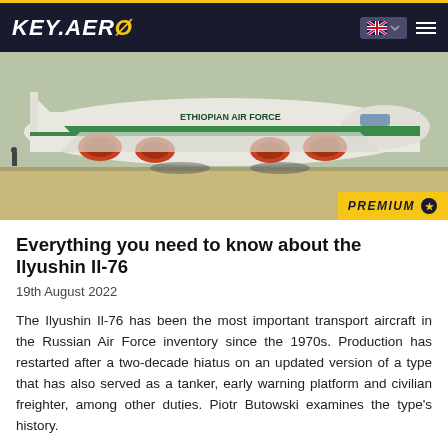KEY.AERO
[Figure (photo): An Ilyushin Il-76 military transport aircraft painted in white with green stripe and 'Ethiopian Air Force' markings, parked on a tarmac. Four turbofan engines visible, aircraft viewed from the front-left quarter.]
Everything you need to know about the Ilyushin Il-76
19th August 2022
The Ilyushin Il-76 has been the most important transport aircraft in the Russian Air Force inventory since the 1970s. Production has restarted after a two-decade hiatus on an updated version of a type that has also served as a tanker, early warning platform and civilian freighter, among other duties. Piotr Butowski examines the type's history.